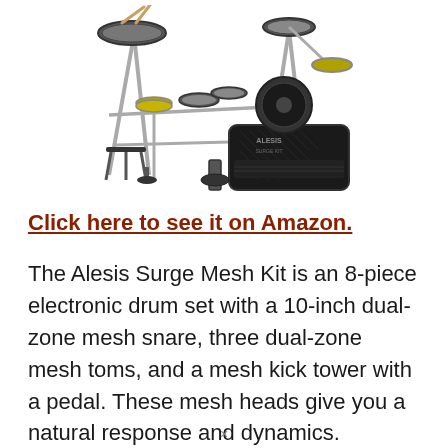[Figure (photo): Photo of an Alesis electronic drum kit with mesh pads, cymbals, kick tower and pedal, and an Alesis amplifier/monitor in front. The kit is shown on a white background.]
Click here to see it on Amazon.
The Alesis Surge Mesh Kit is an 8-piece electronic drum set with a 10-inch dual-zone mesh snare, three dual-zone mesh toms, and a mesh kick tower with a pedal. These mesh heads give you a natural response and dynamics.